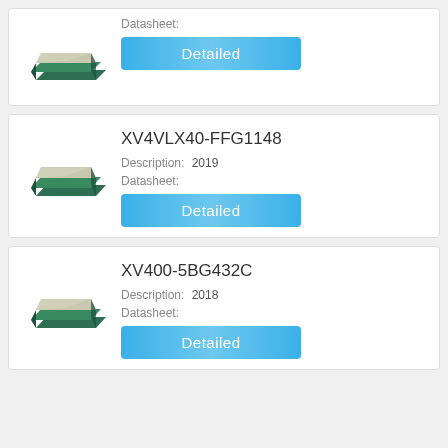[Figure (photo): Partial card showing a chip/FPGA package photo and a Detailed button]
Datasheet:
Detailed
XV4VLX40-FFG1148
Description:   2019
Datasheet:
[Figure (photo): FPGA/chip package photo for XV4VLX40-FFG1148]
Detailed
XV400-5BG432C
Description:   2018
Datasheet:
[Figure (photo): FPGA/chip package photo for XV400-5BG432C]
Detailed